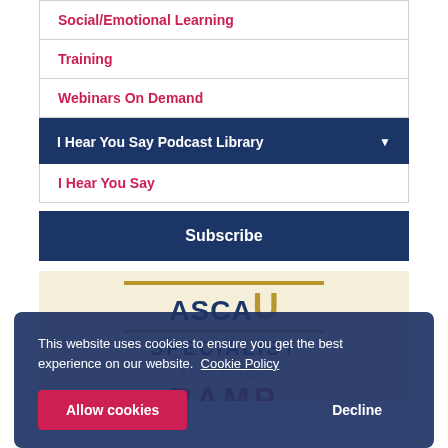Social/Emotional Learning
Training
Webinars On Demand
I Hear You Say Podcast Library
I Hear You Say
Subscribe
[Figure (logo): ASCA U Specialist logo with gold and navy text on cream background, with APPLY FOR RAMP text below]
This website uses cookies to ensure you get the best experience on our website. Cookie Policy
Allow cookies
Decline